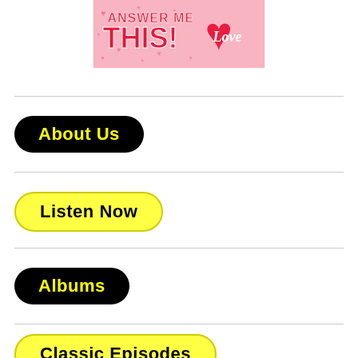[Figure (logo): Answer Me This! Love banner with red hearts on pink background]
About Us
Listen Now
Albums
Classic Episodes